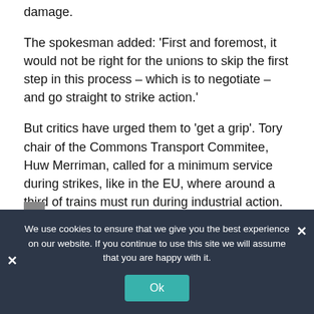damage.
The spokesman added: 'First and foremost, it would not be right for the unions to skip the first step in this process – which is to negotiate – and go straight to strike action.'
But critics have urged them to 'get a grip'. Tory chair of the Commons Transport Commitee, Huw Merriman, called for a minimum service during strikes, like in the EU, where around a third of trains must run during industrial action. He said: 'The unions have fought very hard. And will not back down. But the Government committed to bringing a minimum service obligation – then it may need that legislation in place to strengthen its hand. We regard the rail as an essential service'.
We use cookies to ensure that we give you the best experience on our website. If you continue to use this site we will assume that you are happy with it.